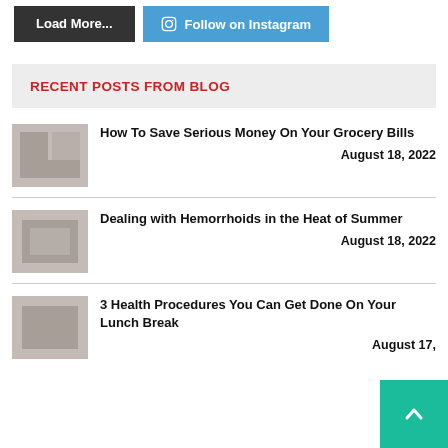Load More...
Follow on Instagram
RECENT POSTS FROM BLOG
How To Save Serious Money On Your Grocery Bills
August 18, 2022
Dealing with Hemorrhoids in the Heat of Summer
August 18, 2022
3 Health Procedures You Can Get Done On Your Lunch Break
August 17,